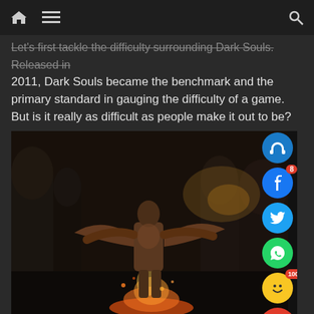[Navigation bar with home icon, menu icon, and search icon]
Let's first tackle the difficulty surrounding Dark Souls. Released in 2011, Dark Souls became the benchmark and the primary standard in gauging the difficulty of a game. But is it really as difficult as people make it out to be?
[Figure (screenshot): Dark Souls game screenshot showing an armored warrior character standing in a dark gothic castle environment with fire at the bottom, arms outstretched. Social sharing sidebar on the right with audio, Facebook (badge:8), Twitter, WhatsApp, emoji reaction (100%), comment, and share buttons.]